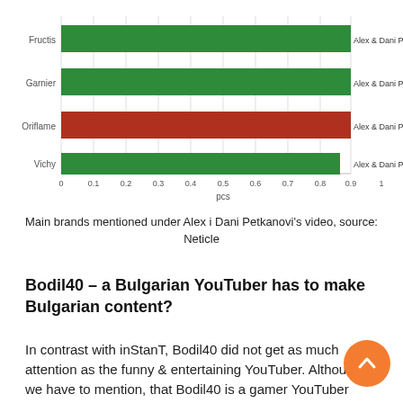[Figure (bar-chart): Main brands mentioned under Alex i Dani Petkanovi's video]
Main brands mentioned under Alex i Dani Petkanovi's video, source: Neticle
Bodil40 – a Bulgarian YouTuber has to make Bulgarian content?
In contrast with inStanT, Bodil40 did not get as much attention as the funny & entertaining YouTuber. Although we have to mention, that Bodil40 is a gamer YouTuber thus